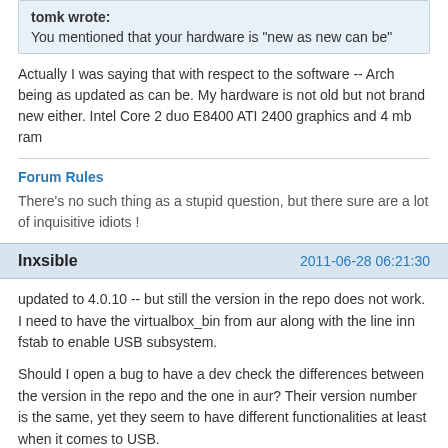tomk wrote: You mentioned that your hardware is "new as new can be"
Actually I was saying that with respect to the software -- Arch being as updated as can be. My hardware is not old but not brand new either. Intel Core 2 duo E8400 ATI 2400 graphics and 4 mb ram
Forum Rules
There's no such thing as a stupid question, but there sure are a lot of inquisitive idiots !
Inxsible  2011-06-28 06:21:30
updated to 4.0.10 -- but still the version in the repo does not work. I need to have the virtualbox_bin from aur along with the line inn fstab to enable USB subsystem.
Should I open a bug to have a dev check the differences between the version in the repo and the one in aur? Their version number is the same, yet they seem to have different functionalities at least when it comes to USB.